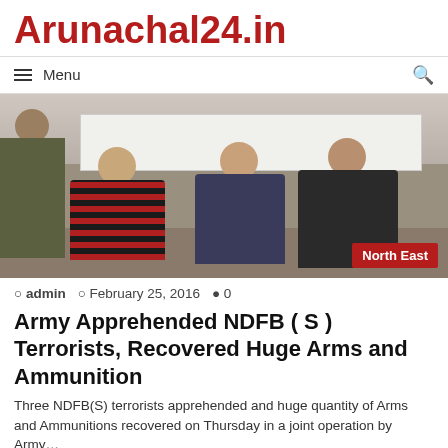Arunachal24.in
Menu
[Figure (photo): Three men seated on the ground with military personnel and a table in the background. North East badge in bottom right.]
admin  February 25, 2016  0
Army Apprehended NDFB ( S ) Terrorists, Recovered Huge Arms and Ammunition
Three NDFB(S) terrorists apprehended and huge quantity of Arms and Ammunitions recovered on Thursday in a joint operation by Army…
Read More »